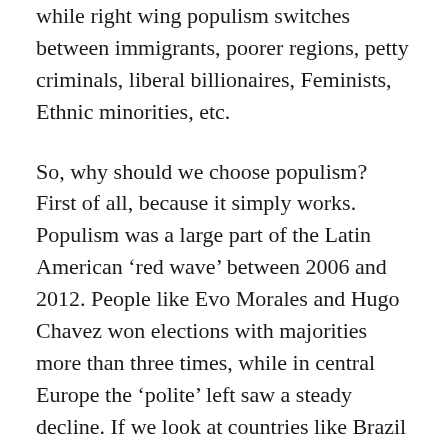while right wing populism switches between immigrants, poorer regions, petty criminals, liberal billionaires, Feminists, Ethnic minorities, etc.
So, why should we choose populism? First of all, because it simply works. Populism was a large part of the Latin American ‘red wave’ between 2006 and 2012. People like Evo Morales and Hugo Chavez won elections with majorities more than three times, while in central Europe the ‘polite’ left saw a steady decline. If we look at countries like Brazil and Bolivia, it was not just a success in terms of power but it also changed the continent by lifting tens of millions out of poverty. Second, because the comeback of fascism creates a strong competition for the working class vote. If we are unwilling to craft an appealing but honest message and take people’s actual